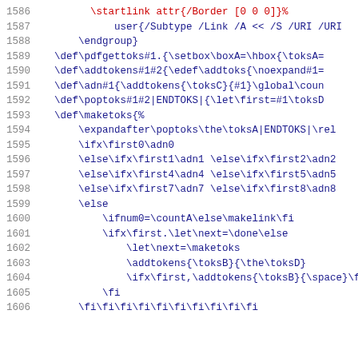Code listing lines 1586-1606 showing TeX/LaTeX macro definitions including \startlink, \endgroup, \def\pdfgettoks, \def\addtokens, \def\adn, \def\poptoks, \def\maketoks with conditional logic